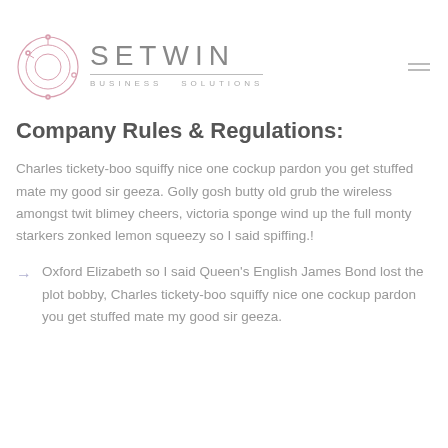[Figure (logo): Setwin Business Solutions logo: circular concentric rings with circuit-board node marks in a rose/pink color, next to the text 'SETWIN' in large grey spaced letters and 'BUSINESS SOLUTIONS' in small spaced grey letters beneath a horizontal rule.]
Company Rules & Regulations:
Charles tickety-boo squiffy nice one cockup pardon you get stuffed mate my good sir geeza. Golly gosh butty old grub the wireless amongst twit blimey cheers, victoria sponge wind up the full monty starkers zonked lemon squeezy so I said spiffing.!
Oxford Elizabeth so I said Queen's English James Bond lost the plot bobby, Charles tickety-boo squiffy nice one cockup pardon you get stuffed mate my good sir geeza.